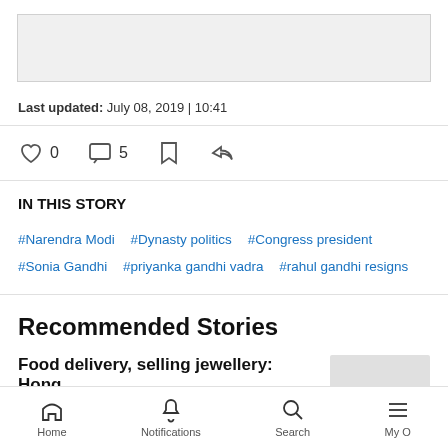[Figure (other): Gray image placeholder at top of page]
Last updated: July 08, 2019 | 10:41
[Figure (infographic): Action icons row: heart (0 likes), comment (5 comments), bookmark, share]
IN THIS STORY
#Narendra Modi  #Dynasty politics  #Congress president  #Sonia Gandhi  #priyanka gandhi vadra  #rahul gandhi resigns
Recommended Stories
Food delivery, selling jewellery: Hong
Home  Notifications  Search  My O